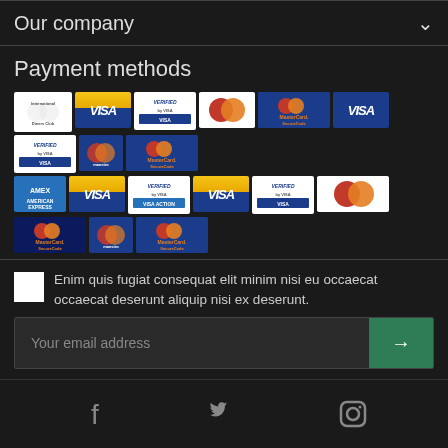Our company
Payment methods
[Figure (logo): Grid of payment method logos: Diners Club, VISA, Verified by VISA, Mastercard, MasterCard SecureCode (two rows of logos in various styles)]
Enim quis fugiat consequat elit minim nisi eu occaecat occaecat deserunt aliquip nisi ex deserunt.
Your email address
[Figure (infographic): Social media icons: Facebook, Twitter, Instagram]
[Figure (logo): Footer logos: MasterCard and VISA]
close